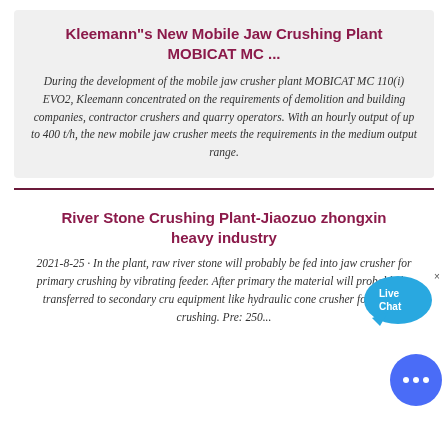Kleemann"s New Mobile Jaw Crushing Plant MOBICAT MC ...
During the development of the mobile jaw crusher plant MOBICAT MC 110(i) EVO2, Kleemann concentrated on the requirements of demolition and building companies, contractor crushers and quarry operators. With an hourly output of up to 400 t/h, the new mobile jaw crusher meets the requirements in the medium output range.
[Figure (illustration): Live Chat speech bubble icon with text 'Live Chat']
River Stone Crushing Plant-Jiaozuo zhongxin heavy industry
2021-8-25 · In the plant, raw river stone will probably be fed into jaw crusher for primary crushing by vibrating feeder. After primary the material will probably be transferred to secondary cru equipment like hydraulic cone crusher for further crushing. Pre: 250...
[Figure (illustration): Blue circular chat support button with ellipsis icon]